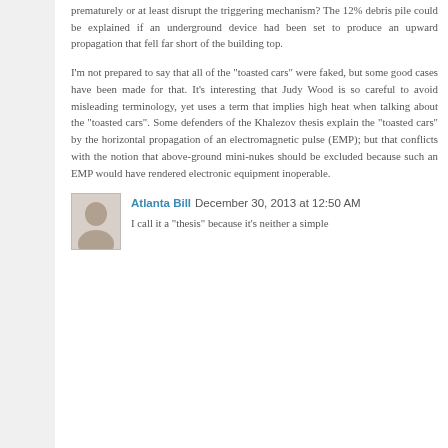prematurely or at least disrupt the triggering mechanism? The 12% debris pile could be explained if an underground device had been set to produce an upward propagation that fell far short of the building top.
I'm not prepared to say that all of the "toasted cars" were faked, but some good cases have been made for that. It's interesting that Judy Wood is so careful to avoid misleading terminology, yet uses a term that implies high heat when talking about the "toasted cars". Some defenders of the Khalezov thesis explain the "toasted cars" by the horizontal propagation of an electromagnetic pulse (EMP); but that conflicts with the notion that above-ground mini-nukes should be excluded because such an EMP would have rendered electronic equipment inoperable.
Atlanta Bill  December 30, 2013 at 12:50 AM
I call it a "thesis" because it's neither a simple